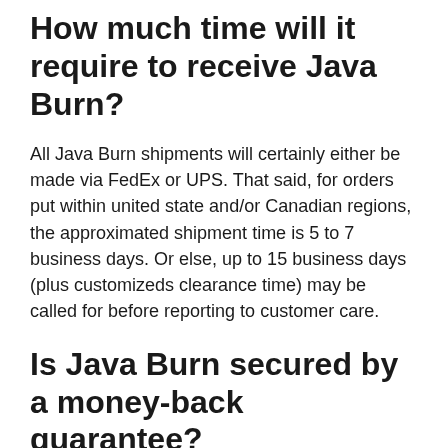How much time will it require to receive Java Burn?
All Java Burn shipments will certainly either be made via FedEx or UPS. That said, for orders put within united state and/or Canadian regions, the approximated shipment time is 5 to 7 business days. Or else, up to 15 business days (plus customizeds clearance time) may be called for before reporting to customer care.
Is Java Burn secured by a money-back guarantee?
Yes, all Java Burn purchases have been